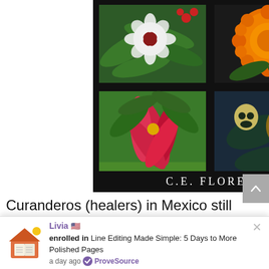[Figure (photo): Book cover showing four quadrant photos of colorful flowers and plants on a black background, with author name C.E. FLORES at the bottom in white serif text]
Curanderos (healers) in Mexico still
[blurred continuation text]
Livia 🇺🇸 enrolled in Line Editing Made Simple: 5 Days to More Polished Pages a day ago ✅ ProveSource